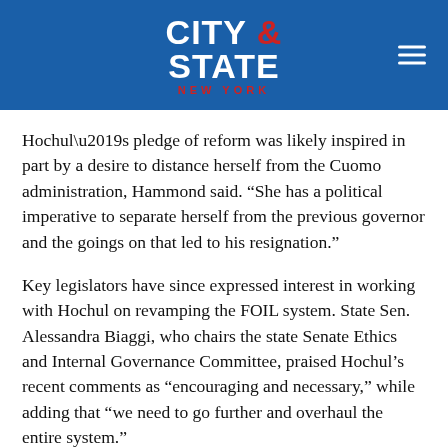[Figure (logo): City & State New York logo on blue header bar with hamburger menu icon]
Hochul’s pledge of reform was likely inspired in part by a desire to distance herself from the Cuomo administration, Hammond said. “She has a political imperative to separate herself from the previous governor and the goings on that led to his resignation.”
Key legislators have since expressed interest in working with Hochul on revamping the FOIL system. State Sen. Alessandra Biaggi, who chairs the state Senate Ethics and Internal Governance Committee, praised Hochul’s recent comments as “encouraging and necessary,” while adding that “we need to go further and overhaul the entire system.”